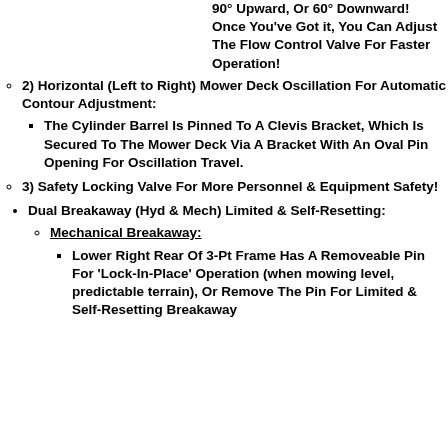90° Upward, Or 60° Downward! Once You've Got it, You Can Adjust The Flow Control Valve For Faster Operation!
2) Horizontal (Left to Right) Mower Deck Oscillation For Automatic Contour Adjustment:
The Cylinder Barrel Is Pinned To A Clevis Bracket, Which Is Secured To The Mower Deck Via A Bracket With An Oval Pin Opening For Oscillation Travel.
3) Safety Locking Valve For More Personnel & Equipment Safety!
Dual Breakaway (Hyd & Mech) Limited & Self-Resetting:
Mechanical Breakaway:
Lower Right Rear Of 3-Pt Frame Has A Removeable Pin For 'Lock-In-Place' Operation (when mowing level, predictable terrain), Or Remove The Pin For Limited & Self-Resetting Breakaway